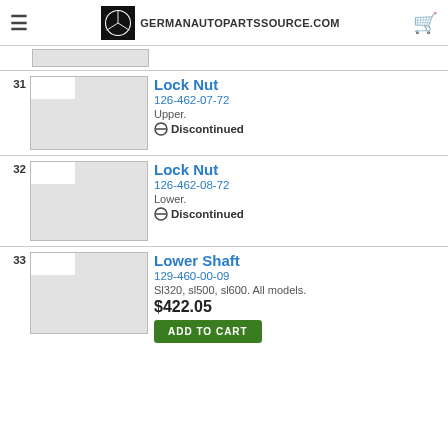GERMANAUTOPARTSSOURCE.COM
31 — Lock Nut, 126-462-07-72, Upper. Discontinued
32 — Lock Nut, 126-462-08-72, Lower. Discontinued
33 — Lower Shaft, 129-460-00-09, Sl320, sl500, sl600. All models. $422.05